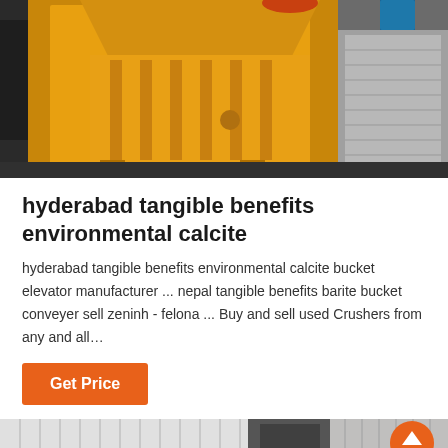[Figure (photo): Yellow heavy industrial jaw crusher machine photographed outdoors, sitting on a dark floor with blue barrels and metal grating visible in the background.]
hyderabad tangible benefits environmental calcite
hyderabad tangible benefits environmental calcite bucket elevator manufacturer ... nepal tangible benefits barite bucket conveyer sell zeninh - felona ... Buy and sell used Crushers from any and all…
Get Price
[Figure (photo): Partial bottom photograph showing industrial or construction materials — pale striped panels on the left and dark industrial equipment on the right.]
Leave Message   Chat Online